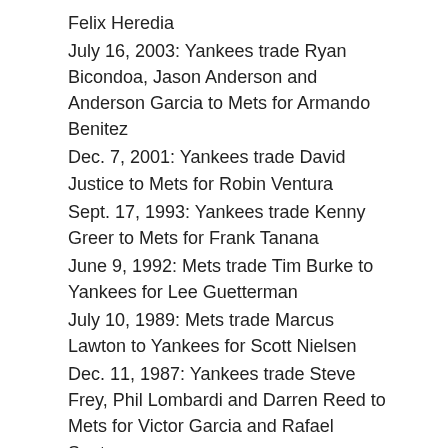Felix Heredia
July 16, 2003: Yankees trade Ryan Bicondoa, Jason Anderson and Anderson Garcia to Mets for Armando Benitez
Dec. 7, 2001: Yankees trade David Justice to Mets for Robin Ventura
Sept. 17, 1993: Yankees trade Kenny Greer to Mets for Frank Tanana
June 9, 1992: Mets trade Tim Burke to Yankees for Lee Guetterman
July 10, 1989: Mets trade Marcus Lawton to Yankees for Scott Nielsen
Dec. 11, 1987: Yankees trade Steve Frey, Phil Lombardi and Darren Reed to Mets for Victor Garcia and Rafael Santana
April 18, 1983: Yankees trade Tucker Ashford to Mets for a player to be named later and Steve Ray. Mets sent Felix Perdomo to Yankees to complete trade